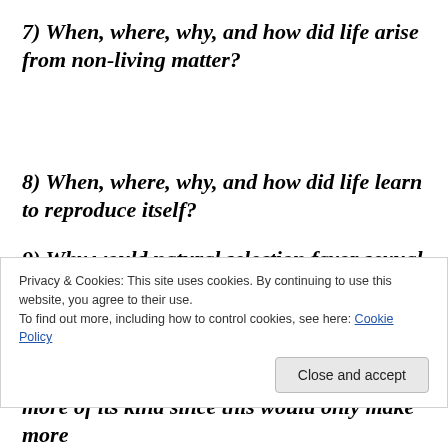7) When, where, why, and how did life arise from non-living matter?
8) When, where, why, and how did life learn to reproduce itself?
9) Why would natural selection favor sexual reproduction over cell division, which is more efficient
Privacy & Cookies: This site uses cookies. By continuing to use this website, you agree to their use.
To find out more, including how to control cookies, see here: Cookie Policy
Close and accept
more of its kind since this would only make more